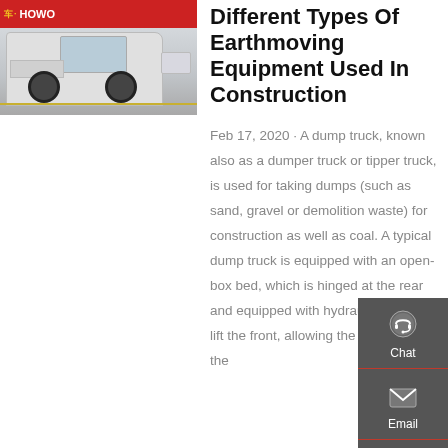[Figure (photo): White HOWO dump truck cab parked in front of a red banner with yellow HOWO branding text.]
Different Types Of Earthmoving Equipment Used In Construction
Feb 17, 2020 · A dump truck, known also as a dumper truck or tipper truck, is used for taking dumps (such as sand, gravel or demolition waste) for construction as well as coal. A typical dump truck is equipped with an open-box bed, which is hinged at the rear and equipped with hydraulic rams to lift the front, allowing the material in the